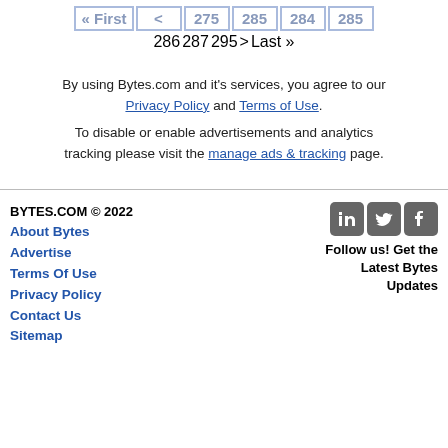« First  < 275 285 284 285  286 287 295  > Last »
By using Bytes.com and it's services, you agree to our Privacy Policy and Terms of Use.

To disable or enable advertisements and analytics tracking please visit the manage ads & tracking page.
BYTES.COM © 2022
About Bytes
Advertise
Terms Of Use
Privacy Policy
Contact Us
Sitemap

Follow us! Get the Latest Bytes Updates